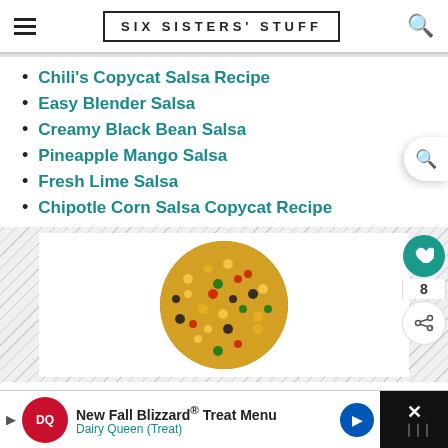SIX SISTERS' STUFF
Chili's Copycat Salsa Recipe
Easy Blender Salsa
Creamy Black Bean Salsa
Pineapple Mango Salsa
Fresh Lime Salsa
Chipotle Corn Salsa Copycat Recipe
[Figure (photo): Circular close-up photo of a corn and black bean salsa with colorful vegetables on a white plate background, with diagonal hatch pattern border]
New Fall Blizzard® Treat Menu
Dairy Queen (Treat)